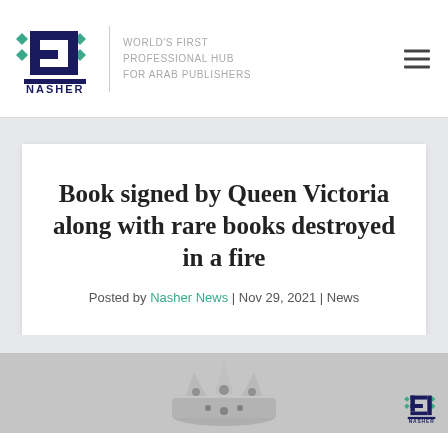NASHER | WORLD'S FIRST PROFESSIONAL HUB FOR ARAB PUBLISHERS
Book signed by Queen Victoria along with rare books destroyed in a fire
Posted by Nasher News | Nov 29, 2021 | News
[Figure (photo): A crown ornament, appears to be a decorative tiara or crown, photographed in black and white or grayscale. A small Nasher logo is visible in the bottom right corner of the image.]